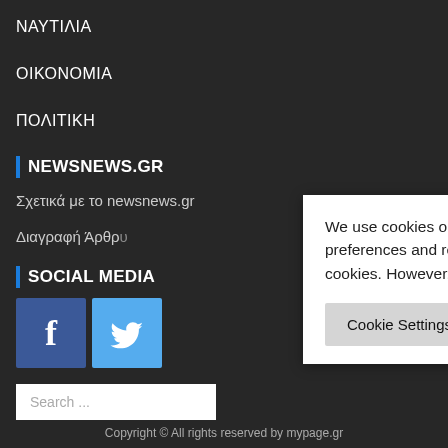ΝΑΥΤΙΛΙΑ
ΟΙΚΟΝΟΜΙΑ
ΠΟΛΙΤΙΚΗ
NEWSNEWS.GR
Σχετικά με το newsnews.gr
Διαγραφή Άρθρ...
SOCIAL MED...
[Figure (screenshot): Facebook and Twitter social media icons (blue square buttons)]
Search ...
We use cookies on our website to give you the most relevant experience by remembering your preferences and repeat visits. By clicking "Accept All", you consent to the use of ALL the cookies. However, you may visit "Cookie Settings" to provide a controlled consent.
Cookie Settings | Accept All
Copyright © All rights reserved by mypage.gr